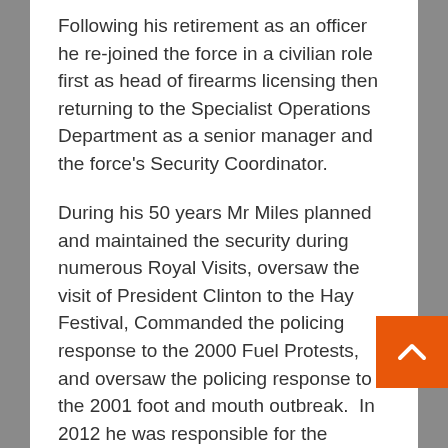Following his retirement as an officer he re-joined the force in a civilian role first as head of firearms licensing then returning to the Specialist Operations Department as a senior manager and the force's Security Coordinator.
During his 50 years Mr Miles planned and maintained the security during numerous Royal Visits, oversaw the visit of President Clinton to the Hay Festival, Commanded the policing response to the 2000 Fuel Protests, and oversaw the policing response to the 2001 foot and mouth outbreak.  In 2012 he was responsible for the Olympic Baton relay, the Queen's Diamond Jubilee Tour and more recently assisting in the security arrangements for the 2014 NATO sum and the 2017 Champions' League Final.
Following the investiture of Mr Miles Chief Constable